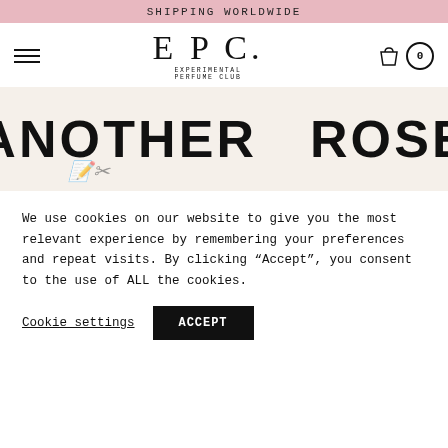Shipping Worldwide
[Figure (logo): EPC Experimental Perfume Club logo with hamburger menu and shopping bag icon]
[Figure (photo): Hero section with large bold text ANOTHER ROSE on cream background with decorative script element]
We use cookies on our website to give you the most relevant experience by remembering your preferences and repeat visits. By clicking “Accept”, you consent to the use of ALL the cookies.
Cookie settings  ACCEPT